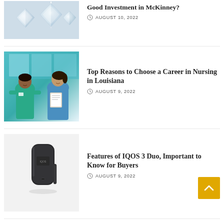[Figure (photo): Close-up of sparkling diamond gems/earrings on a light background]
Good Investment in McKinney?
AUGUST 10, 2022
[Figure (photo): Two nurses in scrubs looking at a clipboard/tablet together]
Top Reasons to Choose a Career in Nursing in Louisiana
AUGUST 9, 2022
[Figure (photo): IQOS 3 Duo device in dark/black color on white background]
Features of IQOS 3 Duo, Important to Know for Buyers
AUGUST 9, 2022
[Figure (photo): Kumon Pencil Skill Programme advertisement card with pink/red banner text]
Pencil Skill Programme –